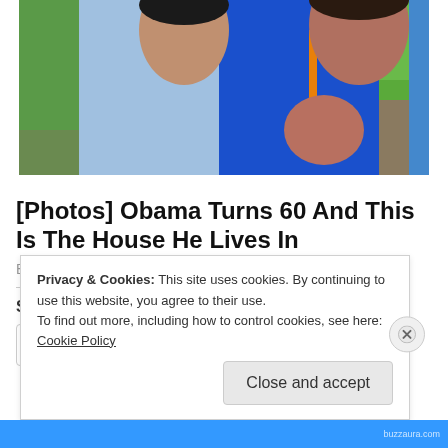[Figure (photo): Photo of two people, a man in a blue checkered shirt on the left and a woman in a blue dress on the right, with green trees in the background]
[Photos] Obama Turns 60 And This Is The House He Lives In
BuzzAura
Share this:
Twitter
Facebook
Privacy & Cookies: This site uses cookies. By continuing to use this website, you agree to their use.
To find out more, including how to control cookies, see here: Cookie Policy
Close and accept